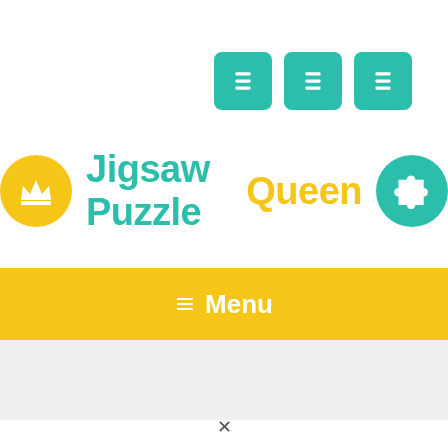[Figure (screenshot): Three teal/green square icon buttons in the top right corner]
[Figure (logo): Jigsaw Puzzle Queen logo with crown circle icon on left, teal 'Jigsaw Puzzle' and yellow 'Queen' text, and teal circle with puzzle piece icon on right]
Menu
[Figure (screenshot): Light gray horizontal bar below the yellow menu bar]